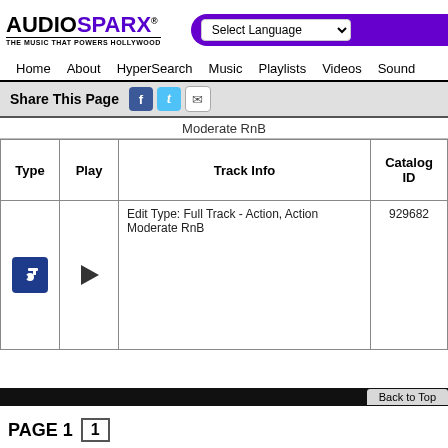[Figure (logo): AudioSparx logo with tagline 'THE MUSIC THAT POWERS HOLLYWOOD']
Select Language
Home  About  HyperSearch  Music  Playlists  Videos  Sound
Share This Page
Moderate RnB
| Type | Play | Track Info | Catalog ID |
| --- | --- | --- | --- |
| [music icon] | [play icon] | Edit Type: Full Track - Action, Action Moderate RnB | 929682 |
Back to Top
PAGE 1  1